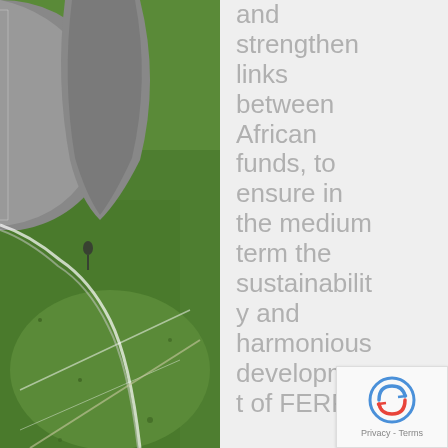[Figure (photo): Aerial view of a road intersection with green grassy areas and a curved road, with a small figure/pedestrian visible]
and strengthen links between African funds, to ensure in the medium term the sustainability and harmonious development of FERF.